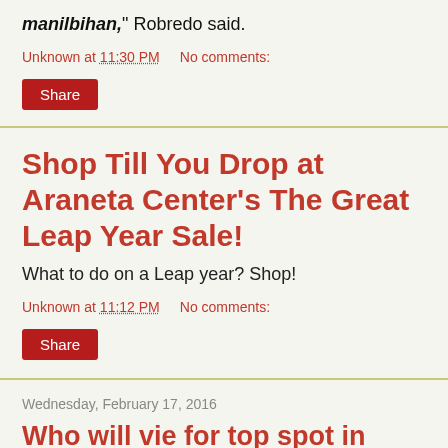manilbihan," Robredo said.
Unknown at 11:30 PM   No comments:
Share
Shop Till You Drop at Araneta Center's The Great Leap Year Sale!
What to do on a Leap year? Shop!
Unknown at 11:12 PM   No comments:
Share
Wednesday, February 17, 2016
Who will vie for top spot in Goldilocks' 10th Intercollegiate Cake Decorating Challenge this February 27? Click to check out #GTD P...